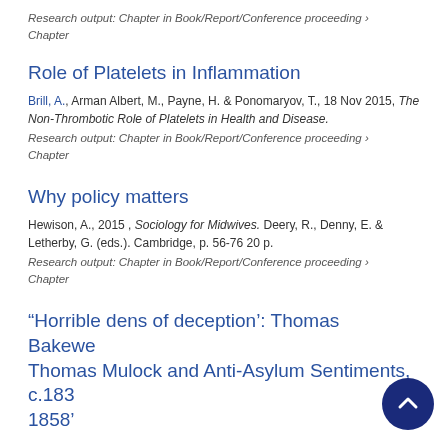Research output: Chapter in Book/Report/Conference proceeding › Chapter
Role of Platelets in Inflammation
Brill, A., Arman Albert, M., Payne, H. & Ponomaryov, T., 18 Nov 2015, The Non-Thrombotic Role of Platelets in Health and Disease.
Research output: Chapter in Book/Report/Conference proceeding › Chapter
Why policy matters
Hewison, A., 2015, Sociology for Midwives. Deery, R., Denny, E. & Letherby, G. (eds.). Cambridge, p. 56-76 20 p.
Research output: Chapter in Book/Report/Conference proceeding › Chapter
“Horrible dens of deception’: Thomas Bakewell, Thomas Mulock and Anti-Asylum Sentiments, c.1830-1858’